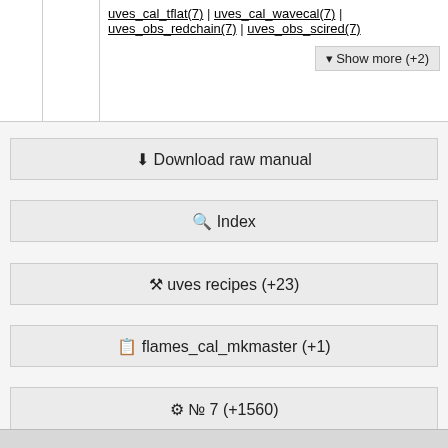|  |  | uves_cal_tflat(7) | uves_cal_wavecal(7) | uves_obs_redchain(7) | uves_obs_scired(7)  ▼ Show more (+2) |
⬇ Download raw manual
🔍 Index
🔧 uves recipes (+23)
📋 flames_cal_mkmaster (+1)
⚙ № 7 (+1560)
↑ Go top